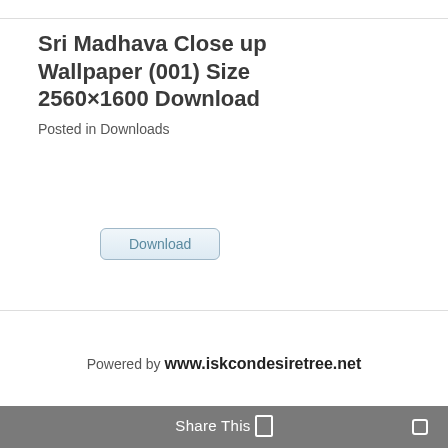Sri Madhava Close up Wallpaper (001) Size 2560×1600 Download
Posted in Downloads
[Figure (other): Download button — a rounded rectangle button styled with light blue gradient border labeled 'Download']
Powered by www.iskcondesiretree.net
Share This